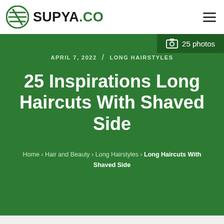SUPYA.CO
[Figure (screenshot): Green hero banner with article metadata, title, and breadcrumb navigation]
APRIL 7, 2022 / LONG HAIRSTYLES
25 Inspirations Long Haircuts With Shaved Side
Home › Hair and Beauty › Long Hairstyles › Long Haircuts With Shaved Side
25 photos